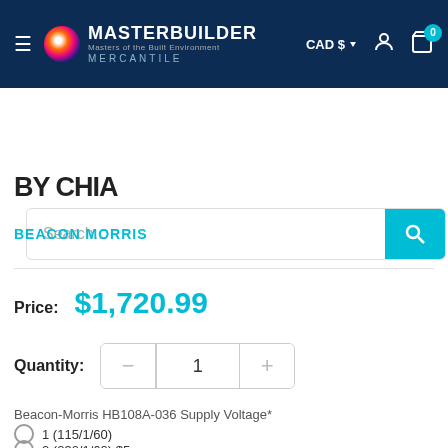[Figure (screenshot): Masterbuilder Mercantile website navigation header with logo, CAD currency selector, account icon, and cart icon with badge showing 0]
Search...
BY CHIA
BEACON MORRIS
Price: $1,720.99
Quantity: 1
Beacon-Morris HB108A-036 Supply Voltage*
1 (115/1/60)
2 (230/1/60) $5(...